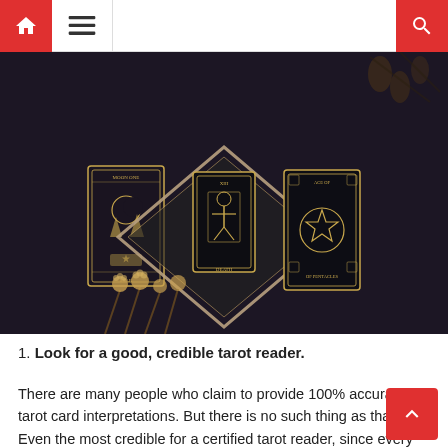[Figure (photo): Tarot cards arranged on a dark background with a diamond-shaped mirror frame. Three ornate tarot cards visible: one on the left, 'Death' card in the center, and one on the right. Pine cones and dried flowers also visible.]
1. Look for a good, credible tarot reader.
There are many people who claim to provide 100% accurate tarot card interpretations. But there is no such thing as that. Even the most credible for a certified tarot reader, since every few all merging for